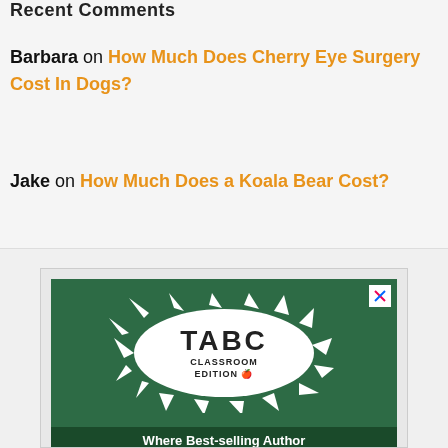Recent Comments
Barbara on How Much Does Cherry Eye Surgery Cost In Dogs?
Jake on How Much Does a Koala Bear Cost?
[Figure (screenshot): Advertisement for TABC Classroom Edition showing a chalkboard background with white splat shape containing 'TABC CLASSROOM EDITION' text and an apple icon. Below reads 'Where Best-selling Author Teach Writing' and 'Subscription Plans for Individuals, Families, Schools, and Home School Pods'. A CLOSE button is visible.]